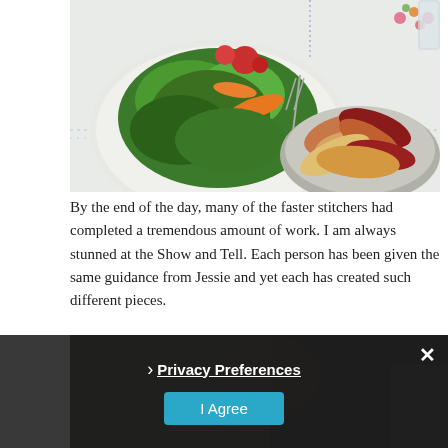[Figure (photo): A table with a white embroidered tablecloth. On the left is a large white plate with a fresh green salad topped with carrots, tomatoes, and other colorful vegetables. On the right is a glass bowl filled with vegetable chips (beet, parsnip, etc.). A glass is partially visible in the top right corner.]
By the end of the day, many of the faster stitchers had completed a tremendous amount of work. I am always stunned at the Show and Tell. Each person has been given the same guidance from Jessie and yet each has created such different pieces.
[Figure (photo): Partially visible dark photograph of people or figures, obscured by a cookie consent overlay.]
Privacy Preferences
I Agree